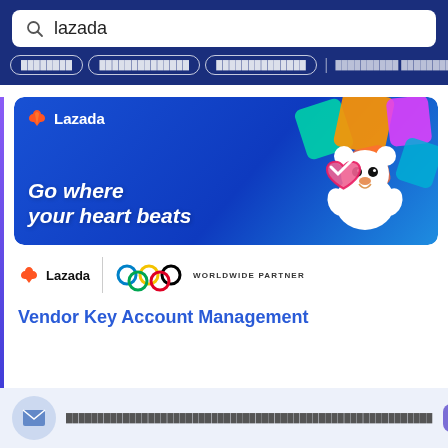lazada
████████  ██████████████  ██████████████  |  ██████████ ██████████████
[Figure (illustration): Lazada promotional banner with slogan 'Go where your heart beats', featuring a white bear mascot, colorful 3D blocks, and the Lazada logo on a blue gradient background]
[Figure (logo): Lazada logo with heart icon and Olympic rings, with text 'WORLDWIDE PARTNER']
Vendor Key Account Management
████████████████████████████████████████████████
██████